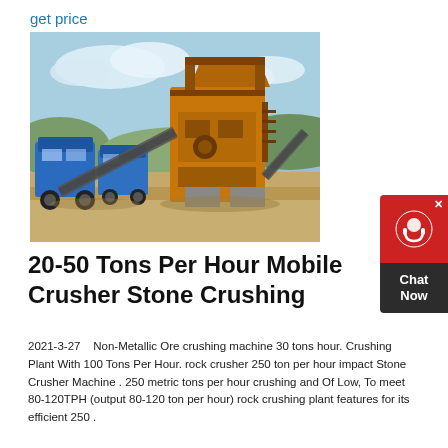get price
[Figure (photo): Outdoor industrial mobile stone crushing plant with orange crusher machinery, blue mobile equipment units, conveyor belts, on a sandy terrain with hills and sky in background.]
20-50 Tons Per Hour Mobile Crusher Stone Crushing
2021-3-27   Non-Metallic Ore crushing machine 30 tons hour. Crushing Plant With 100 Tons Per Hour. rock crusher 250 ton per hour impact Stone Crusher Machine . 250 metric tons per hour crushing and Of Low, To meet 80-120TPH (output 80-120 ton per hour) rock crushing plant features for its efficient 250 .